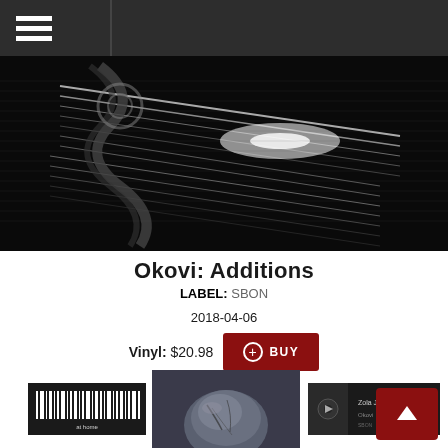Navigation menu
[Figure (photo): Black and white abstract image of industrial or mechanical textures with light streaks, serving as album artwork for Okovi: Additions]
Okovi: Additions
LABEL: SBON
2018-04-06
Vinyl: $20.98  + BUY
[Figure (photo): Barcode thumbnail image for album]
[Figure (photo): Album cover thumbnail showing a dark bluish sculptural figure]
[Figure (photo): Album label card thumbnail with dark background and small text]